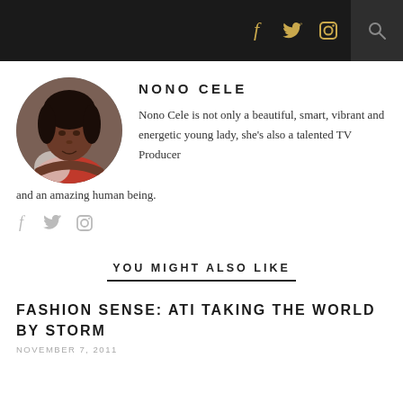Social media icons and search button in dark header bar
NONO CELE
[Figure (photo): Circular portrait photo of Nono Cele, a young woman wearing a white and red outfit, leaning forward with her chin resting on her arms.]
Nono Cele is not only a beautiful, smart, vibrant and energetic young lady, she's also a talented TV Producer and an amazing human being.
Social icons: f, twitter bird, instagram camera
YOU MIGHT ALSO LIKE
FASHION SENSE: ATI TAKING THE WORLD BY STORM
NOVEMBER 7, 2011